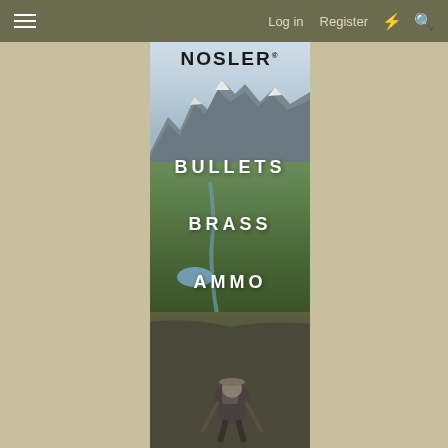Log in   Register
[Figure (screenshot): Nosler brand banner image showing a hunter climbing a rocky mountain slope with scenic Alaskan wilderness in the background, mountains, valley with river, and lush green tundra. The Nosler logo appears at the top of the image.]
BULLETS
BRASS
AMMO